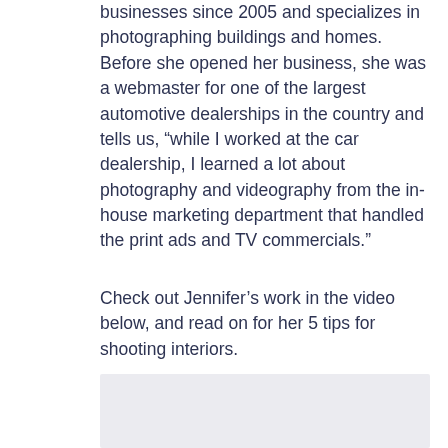businesses since 2005 and specializes in photographing buildings and homes. Before she opened her business, she was a webmaster for one of the largest automotive dealerships in the country and tells us, “while I worked at the car dealership, I learned a lot about photography and videography from the in-house marketing department that handled the print ads and TV commercials.”
Check out Jennifer’s work in the video below, and read on for her 5 tips for shooting interiors.
[Figure (other): Video placeholder box with light gray/lavender background]